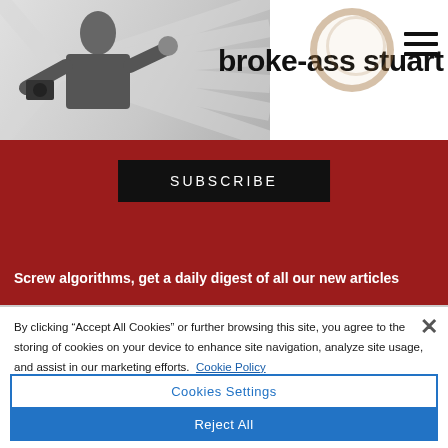[Figure (screenshot): Website header with logo image of person with camera and site title 'broke-ass stuart', coffee ring graphic, and hamburger menu icon]
broke-ass stuart
[Figure (screenshot): Red subscribe banner with black SUBSCRIBE button and white tagline text]
SUBSCRIBE
Screw algorithms, get a daily digest of all our new articles
By clicking “Accept All Cookies” or further browsing this site, you agree to the storing of cookies on your device to enhance site navigation, analyze site usage, and assist in our marketing efforts.  Cookie Policy
Cookies Settings
Reject All
Accept All Cookies